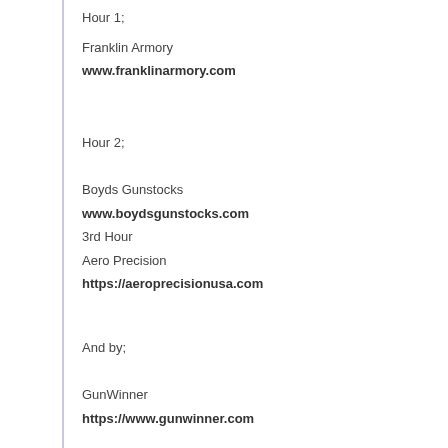Hour 1;
Franklin Armory
www.franklinarmory.com
Hour 2;
Boyds Gunstocks
www.boydsgunstocks.com
3rd Hour
Aero Precision
https://aeroprecisionusa.com
And by;
GunWinner
https://www.gunwinner.com
NightHawk Custom